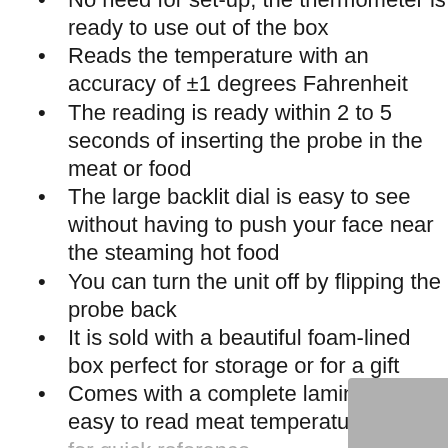No need for set-up; the thermometer is ready to use out of the box
Reads the temperature with an accuracy of ±1 degrees Fahrenheit
The reading is ready within 2 to 5 seconds of inserting the probe in the meat or food
The large backlit dial is easy to see without having to push your face near the steaming hot food
You can turn the unit off by flipping the probe back
It is sold with a beautiful foam-lined box perfect for storage or for a gift
Comes with a complete laminated and easy to read meat temperature guide for quick reference
Suitable for use both indoors and